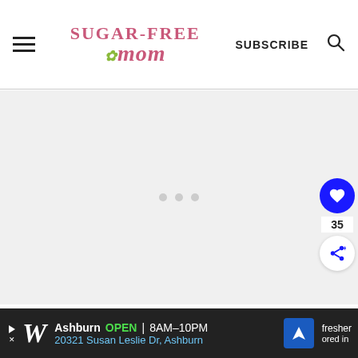SUGAR-FREE mom — SUBSCRIBE
[Figure (other): Loading placeholder / ad area with three grey dots centered in a light grey rectangle]
[Figure (other): Floating action buttons: blue heart button, count 35, share button]
Storage
1. Once cooled, you can keep them on the
[Figure (other): Walgreens advertisement bar: Ashburn OPEN 8AM-10PM, 20321 Susan Leslie Dr, Ashburn]